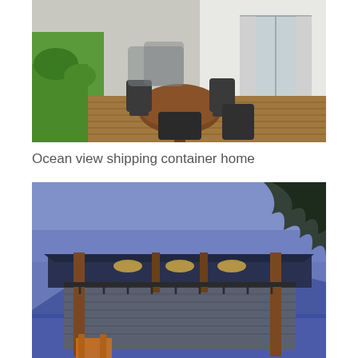[Figure (photo): Outdoor deck with round wooden table and wicker chairs, green garden visible on the left, white building with sliding glass door on the right]
Ocean view shipping container home
[Figure (photo): Shipping container home at dusk with blue sky, dark blue metal roof, warm interior lighting, balcony railing, and silhouetted trees]